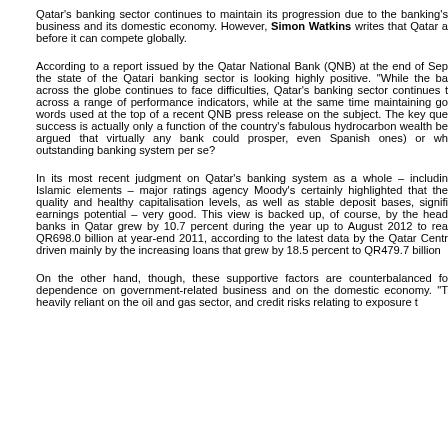Qatar's banking sector continues to maintain its progression due to the banking's business and its domestic economy. However, Simon Watkins writes that Qatar a before it can compete globally.
According to a report issued by the Qatar National Bank (QNB) at the end of Sep the state of the Qatari banking sector is looking highly positive. "While the ba across the globe continues to face difficulties, Qatar's banking sector continues t across a range of performance indicators, while at the same time maintaining go words used at the top of a recent QNB press release on the subject. The key que success is actually only a function of the country's fabulous hydrocarbon wealth be argued that virtually any bank could prosper, even Spanish ones) or wh outstanding banking system per se?
In its most recent judgment on Qatar's banking system as a whole – includin Islamic elements – major ratings agency Moody's certainly highlighted that the quality and healthy capitalisation levels, as well as stable deposit bases, signifi earnings potential – very good. This view is backed up, of course, by the head banks in Qatar grew by 10.7 percent during the year up to August 2012 to rea QR698.0 billion at year-end 2011, according to the latest data by the Qatar Centr driven mainly by the increasing loans that grew by 18.5 percent to QR479.7 billion
On the other hand, though, these supportive factors are counterbalanced fo dependence on government-related business and on the domestic economy. "T heavily reliant on the oil and gas sector, and credit risks relating to exposure t